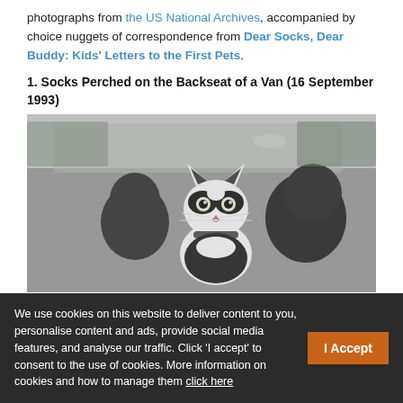photographs from the US National Archives, accompanied by choice nuggets of correspondence from Dear Socks, Dear Buddy: Kids' Letters to the First Pets.
1. Socks Perched on the Backseat of a Van (16 September 1993)
[Figure (photo): Black and white photograph of Socks the cat perched on the backseat of a van, looking alert with wide eyes, facing the camera. Two people are visible in the front seats.]
We use cookies on this website to deliver content to you, personalise content and ads, provide social media features, and analyse our traffic. Click 'I accept' to consent to the use of cookies. More information on cookies and how to manage them click here